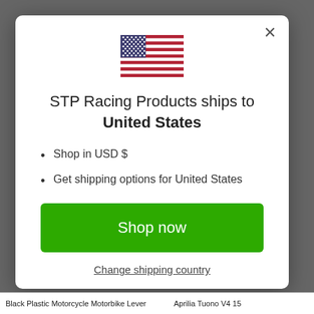[Figure (illustration): United States flag icon centered at the top of the modal dialog]
STP Racing Products ships to United States
Shop in USD $
Get shipping options for United States
Shop now
Change shipping country
Black Plastic Motorcycle Motorbike Lever   Aprilia Tuono V4 15